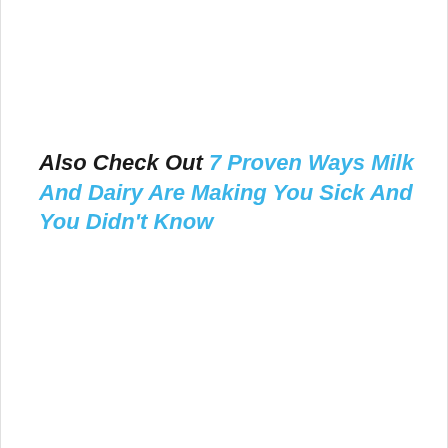Also Check Out 7 Proven Ways Milk And Dairy Are Making You Sick And You Didn't Know